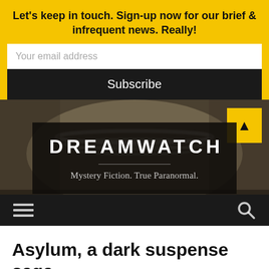Let's keep in touch. Sign-up now for our brief & infrequent news. Really!
Your email address
Subscribe
[Figure (screenshot): Dreamwatch website hero banner showing a vintage sepia-toned background with pearl necklace and lace fabric. Contains a dark box with 'DREAMWATCH' in bold white uppercase letters, a horizontal divider, and tagline 'Mystery Fiction. True Paranormal.' A yellow up-arrow button appears top right. Below is a dark navigation bar with hamburger menu icon on left and search icon on right.]
Asylum, a dark suspense saga